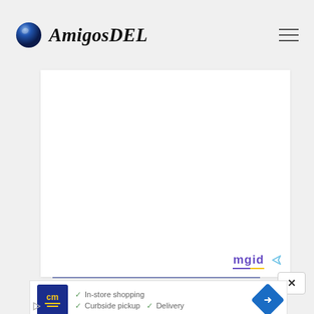AmigosDEL
[Figure (screenshot): AmigosDEL website screenshot showing header with logo (blue sphere + italic AmigosDEL text), hamburger menu icon, a large white content area, mgid branding badge, a close X button, and an advertisement banner with CM icon, checkmarks for In-store shopping, Curbside pickup, Delivery, and a blue diamond navigation icon.]
In-store shopping
Curbside pickup  Delivery
mgid